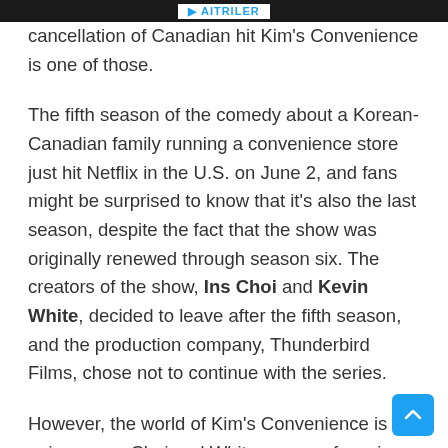AITRILER
cancellation of Canadian hit Kim's Convenience is one of those.
The fifth season of the comedy about a Korean-Canadian family running a convenience store just hit Netflix in the U.S. on June 2, and fans might be surprised to know that it's also the last season, despite the fact that the show was originally renewed through season six. The creators of the show, Ins Choi and Kevin White, decided to leave after the fifth season, and the production company, Thunderbird Films, chose not to continue with the series.
However, the world of Kim's Convenience is not going away. Choi and White are now focusing on a spinoff called Strays, which focuses on the character of Shannon,